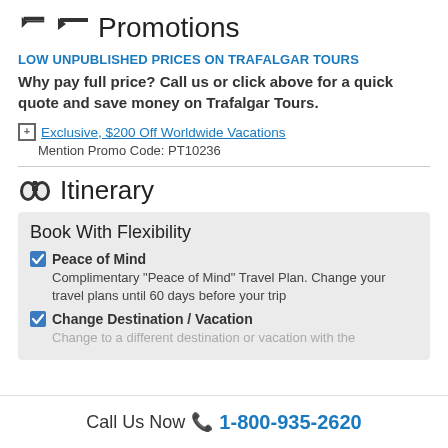Promotions
LOW UNPUBLISHED PRICES ON TRAFALGAR TOURS
Why pay full price? Call us or click above for a quick quote and save money on Trafalgar Tours.
Exclusive, $200 Off Worldwide Vacations
Mention Promo Code: PT10236
Itinerary
Book With Flexibility
Peace of Mind – Complimentary "Peace of Mind" Travel Plan. Change your travel plans until 60 days before your trip
Change Destination / Vacation – Change to a different destination or vacation with the
Call Us Now 📞 1-800-935-2620